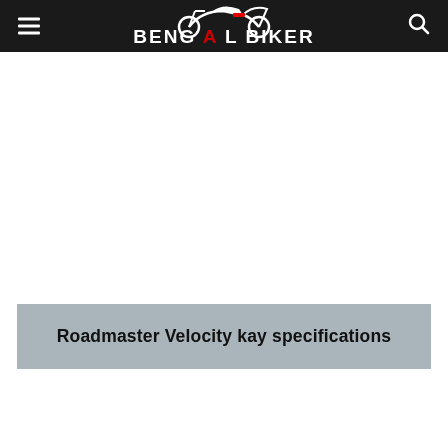Bengal Biker
[Figure (logo): Bengal Biker logo with motorcycle silhouette on dark background, white text]
Roadmaster Velocity kay specifications